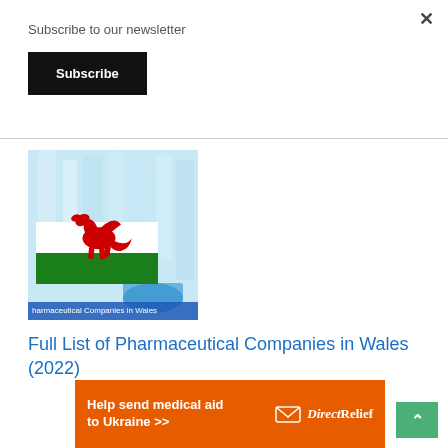Subscribe to our newsletter
Subscribe
[Figure (photo): Photo of pharmaceutical laboratory glassware with a Welsh dragon flag overlay and text 'Pharmaceutical Companies in Wales']
Full List of Pharmaceutical Companies in Wales (2022)
Help send medical aid to Ukraine >>  DirectRelief